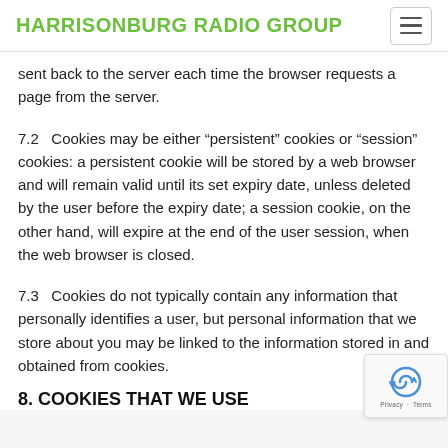HARRISONBURG RADIO GROUP
sent back to the server each time the browser requests a page from the server.
7.2   Cookies may be either “persistent” cookies or “session” cookies: a persistent cookie will be stored by a web browser and will remain valid until its set expiry date, unless deleted by the user before the expiry date; a session cookie, on the other hand, will expire at the end of the user session, when the web browser is closed.
7.3   Cookies do not typically contain any information that personally identifies a user, but personal information that we store about you may be linked to the information stored in and obtained from cookies.
8. COOKIES THAT WE USE